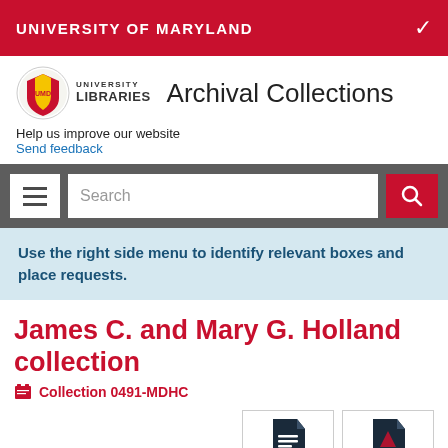UNIVERSITY OF MARYLAND
[Figure (logo): University of Maryland Libraries logo with shield and text]
Archival Collections
Help us improve our website
Send feedback
[Figure (screenshot): Search bar with hamburger menu and search input field]
Use the right side menu to identify relevant boxes and place requests.
James C. and Mary G. Holland collection
Collection 0491-MDHC
[Figure (infographic): Citation and Print action buttons with icons]